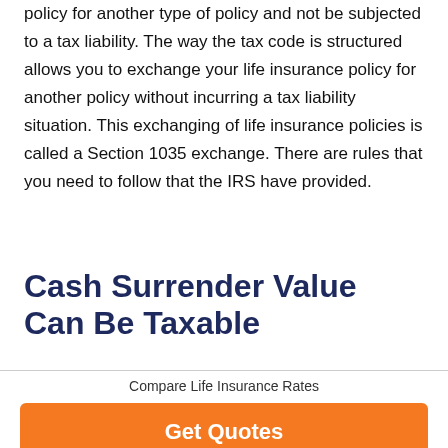policy for another type of policy and not be subjected to a tax liability. The way the tax code is structured allows you to exchange your life insurance policy for another policy without incurring a tax liability situation. This exchanging of life insurance policies is called a Section 1035 exchange. There are rules that you need to follow that the IRS have provided.
Cash Surrender Value Can Be Taxable
Compare Life Insurance Rates
Get Quotes